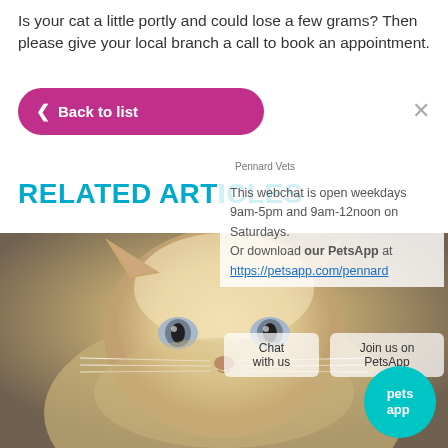Is your cat a little portly and could lose a few grams? Then please give your local branch a call to book an appointment.
Back to list
×
RELATED ARTICLES
Pennard Vets
This webchat is open weekdays 9am-5pm and 9am-12noon on Saturdays.
Or download our PetsApp at https://petsapp.com/pennard
[Figure (photo): Close-up photo of a fluffy cream/beige cat with blue eyes looking at the camera]
Chat with us
Join us on PetsApp
pets app